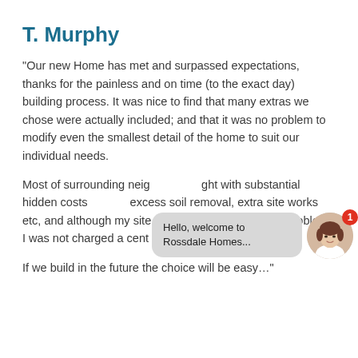T. Murphy
“Our new Home has met and surpassed expectations, thanks for the painless and on time (to the exact day) building process. It was nice to find that many extras we chose were actually included; and that it was no problem to modify even the smallest detail of the home to suit our individual needs.
Most of surrounding neig… ou… substantial hidden costs … for excess soil removal, extra site works etc, and although my site was not immune to these problems I was not charged a cent more that I was quoted.
If we build in the future the choice will be easy…”
[Figure (illustration): Chat widget overlay with a speech bubble saying 'Hello, welcome to Rossdale Homes...' and a circular avatar of a woman with a red badge showing the number 1]